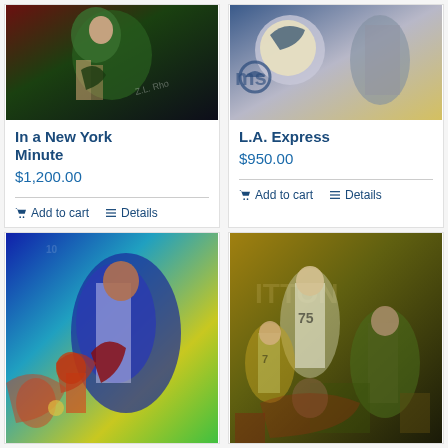[Figure (illustration): Sports artwork painting of a football player in green uniform, top-left product card image]
In a New York Minute
$1,200.00
Add to cart
Details
[Figure (illustration): Sports artwork painting of a football player with Rams logo, top-right product card image]
L.A. Express
$950.00
Add to cart
Details
[Figure (illustration): Sports artwork painting of a football player running with ball in blue and yellow colors, bottom-left product]
[Figure (illustration): Sports artwork collage painting of Steelers football players number 75 and 7, bottom-right product]